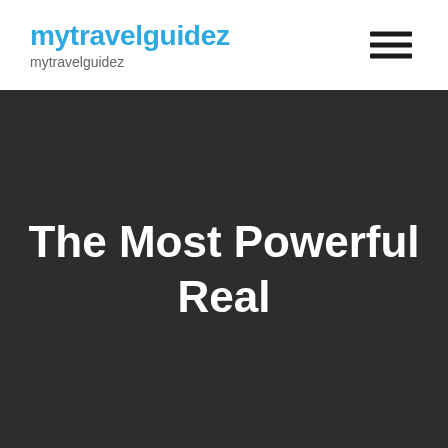mytravelguidez
mytravelguidez
The Most Powerful Real